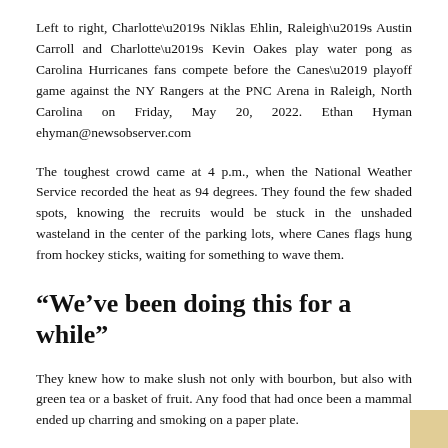Left to right, Charlotte’s Niklas Ehlin, Raleigh’s Austin Carroll and Charlotte’s Kevin Oakes play water pong as Carolina Hurricanes fans compete before the Canes’ playoff game against the NY Rangers at the PNC Arena in Raleigh, North Carolina on Friday, May 20, 2022. Ethan Hyman ehyman@newsobserver.com
The toughest crowd came at 4 p.m., when the National Weather Service recorded the heat as 94 degrees. They found the few shaded spots, knowing the recruits would be stuck in the unshaded wasteland in the center of the parking lots, where Canes flags hung from hockey sticks, waiting for something to wave them.
“We’ve been doing this for a while”
They knew how to make slush not only with bourbon, but also with green tea or a basket of fruit. Any food that had once been a mammal ended up charring and smoking on a paper plate.